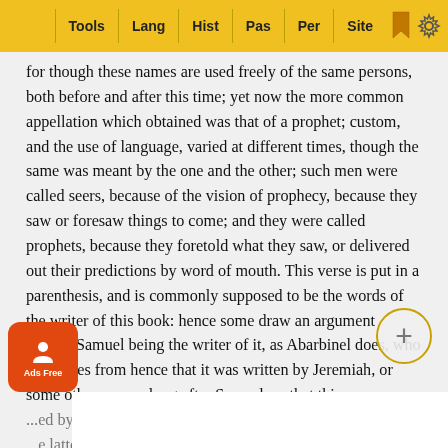Tools | Lang | Hist | Pas | Per | Site
for though these names are used freely of the same persons, both before and after this time; yet now the more common appellation which obtained was that of a prophet; custom, and the use of language, varied at different times, though the same was meant by the one and the other; such men were called seers, because of the vision of prophecy, because they saw or foresaw things to come; and they were called prophets, because they foretold what they saw, or delivered out their predictions by word of mouth. This verse is put in a parenthesis, and is commonly supposed to be the words of the writer of this book: hence some draw an argument against Samuel being the writer of it, as Abarbinel does, who concludes from hence that it was written by Jeremiah, or some other person long after Samuel, or that this vers... ...ed by Ezra; but as this book might be written by Sa... ...e latter part of his life, he might with propriety observe this, t... ...inting of Sau...